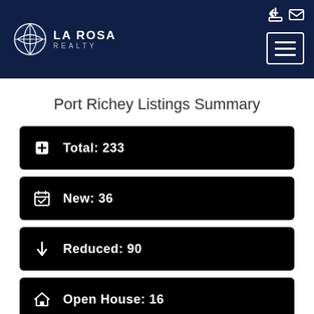[Figure (logo): La Rosa Realty logo - white globe/baseball icon with LA ROSA REALTY text on dark navy background header]
Port Richey Listings Summary
Total: 233
New: 36
Reduced: 90
Open House: 16